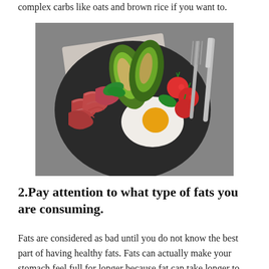complex carbs like oats and brown rice if you want to.
[Figure (photo): A dark plate with keto/healthy food including grilled avocado halves, fried egg, bacon strips, cherry tomatoes, and greens, with a knife and fork beside it on a gray textured background.]
2.Pay attention to what type of fats you are consuming.
Fats are considered as bad until you do not know the best part of having healthy fats. Fats can actually make your stomach feel full for longer because fat can take longer to